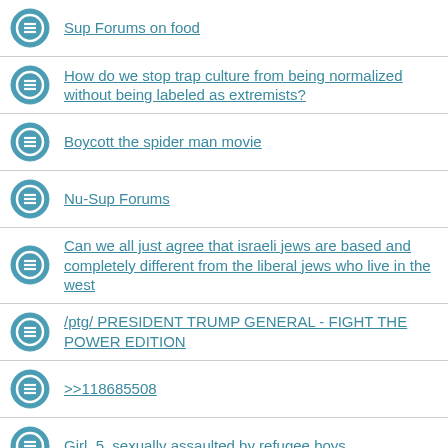Sup Forums on food
How do we stop trap culture from being normalized without being labeled as extremists?
Boycott the spider man movie
Nu-Sup Forums
Can we all just agree that israeli jews are based and completely different from the liberal jews who live in the west
/ptg/ PRESIDENT TRUMP GENERAL - FIGHT THE POWER EDITION
>>118685508
Girl, 5, sexually assaulted by refugee boys
Black People